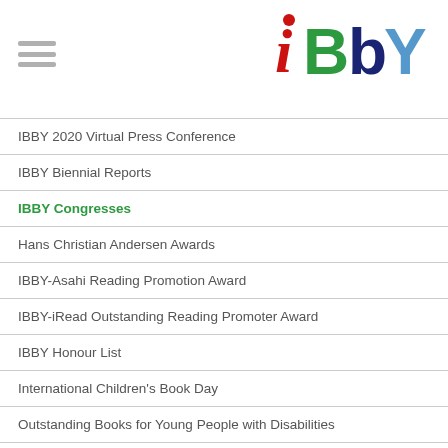[Figure (logo): IBBY logo with stylized italic lowercase 'i' in red, 'B' in green, 'b' in dark blue, 'Y' in light blue]
IBBY 2020 Virtual Press Conference
IBBY Biennial Reports
IBBY Congresses
Hans Christian Andersen Awards
IBBY-Asahi Reading Promotion Award
IBBY-iRead Outstanding Reading Promoter Award
IBBY Honour List
International Children's Book Day
Outstanding Books for Young People with Disabilities
IBBY-Yamada Fund